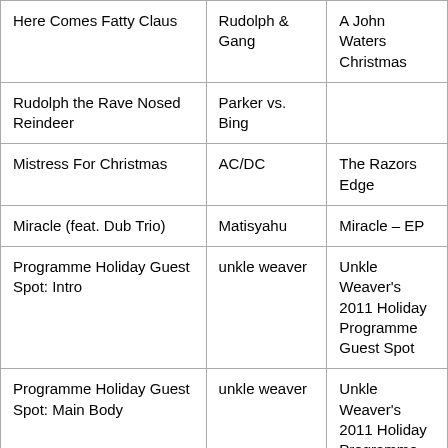| Here Comes Fatty Claus | Rudolph & Gang | A John Waters Christmas |
| Rudolph the Rave Nosed Reindeer | Parker vs. Bing |  |
| Mistress For Christmas | AC/DC | The Razors Edge |
| Miracle (feat. Dub Trio) | Matisyahu | Miracle – EP |
| Programme Holiday Guest Spot: Intro | unkle weaver | Unkle Weaver's 2011 Holiday Programme Guest Spot |
| Programme Holiday Guest Spot: Main Body | unkle weaver | Unkle Weaver's 2011 Holiday Programme Guest Spot |